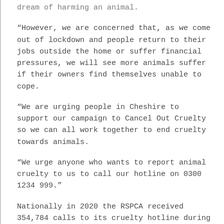dream of harming an animal.
“However, we are concerned that, as we come out of lockdown and people return to their jobs outside the home or suffer financial pressures, we will see more animals suffer if their owners find themselves unable to cope.
“We are urging people in Cheshire to support our campaign to Cancel Out Cruelty so we can all work together to end cruelty towards animals.
“We urge anyone who wants to report animal cruelty to us to call our hotline on 0300 1234 999.”
Nationally in 2020 the RSPCA received 354,784 calls to its cruelty hotline during the summer months (June- August).-
In 2020, they received 8,214 calls about someone beating an animal – almost one an hour.